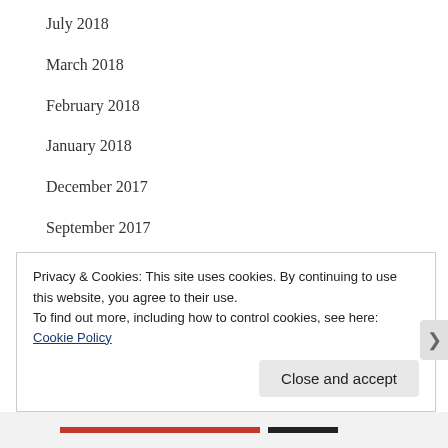July 2018
March 2018
February 2018
January 2018
December 2017
September 2017
August 2017
May 2017
April 2017
March 2017
Privacy & Cookies: This site uses cookies. By continuing to use this website, you agree to their use.
To find out more, including how to control cookies, see here: Cookie Policy
Close and accept